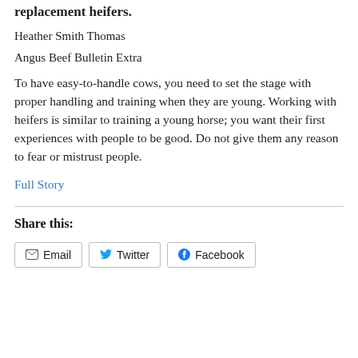Low-stress stockmanship pays off when handling replacement heifers.
Heather Smith Thomas
Angus Beef Bulletin Extra
To have easy-to-handle cows, you need to set the stage with proper handling and training when they are young. Working with heifers is similar to training a young horse; you want their first experiences with people to be good. Do not give them any reason to fear or mistrust people.
Full Story
Share this:
Email  Twitter  Facebook